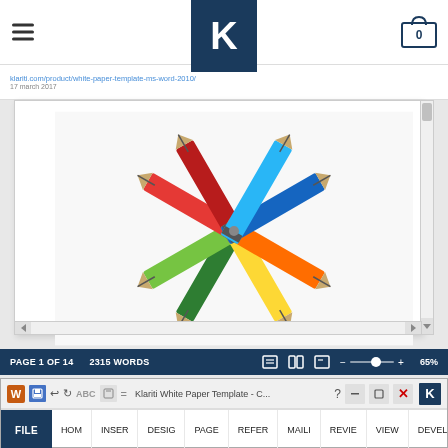K logo, hamburger menu, cart icon
Klariti White Paper Template
[Figure (photo): Colorful pencils arranged in a starburst/fan pattern on a white background, tips meeting at the center. Colors include green, light green, red, dark red, yellow, orange, blue, and cyan.]
PAGE 1 OF 14   2315 WORDS   65%
Klariti White Paper Template - C...   FILE  HOM  INSER  DESIG  PAGE  REFER  MAILI  REVIE  VIEW  DEVEL  Ivan Walsh  K